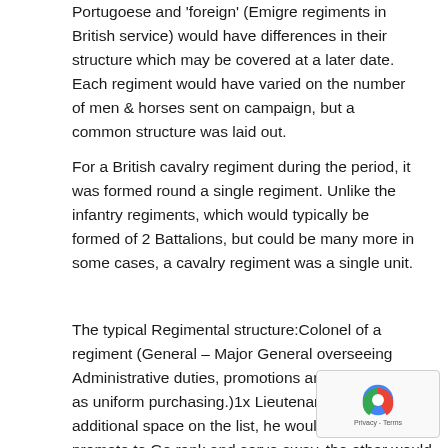Portugoese and 'foreign' (Emigre regiments in British service) would have differences in their structure which may be covered at a later date. Each regiment would have varied on the number of men & horses sent on campaign, but a common structure was laid out.
For a British cavalry regiment during the period, it was formed round a single regiment. Unlike the infantry regiments, which would typically be formed of 2 Battalions, but could be many more in some cases, a cavalry regiment was a single unit.
The typical Regimental structure:Colonel of a regiment (General – Major General overseeing Administrative duties, promotions and supplies, such as uniform purchasing.)1x Lieutenant Colonel (with 1 additional space on the list, he would be able to promote to Ge rank and serve away, the other would be the Commanding Officer of the Regiment) 2x Majors10x